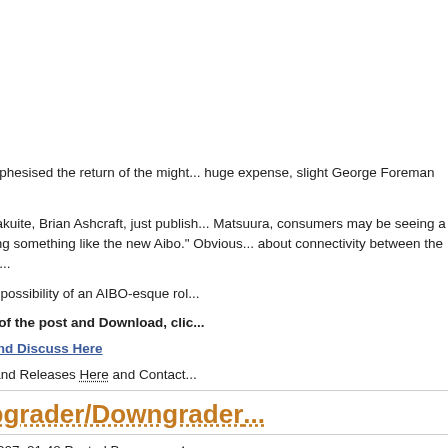Many have prophesised the return of the might... huge expense, slight George Foreman grill app...
The lovely Kotakuite, Brian Ashcraft, just publis... Matsuura, consumers may be seeing a slightly... making something like the new Aibo." Obvious... about connectivity between the two devices, to...
I must say, the possibility of an AIBO-esque rol...
To read more of the post and Download, cli...
Join In and Discuss Here
Submit News and Releases Here and Contact...
PSP Upgrader/Downgrader...
August 10th, 2007, 21:48 Posted By: wraggsto...
Bob Joe has released a new version of his rath...